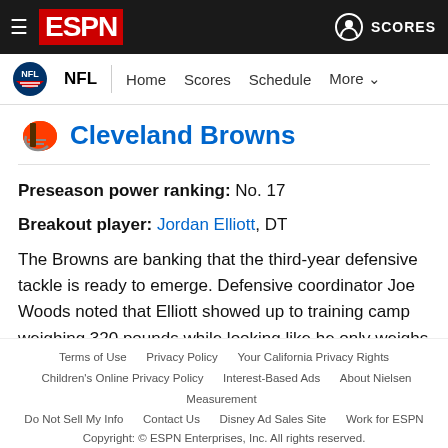ESPN - NFL - Home Scores Schedule More - SCORES
Cleveland Browns
Preseason power ranking: No. 17
Breakout player: Jordan Elliott, DT
The Browns are banking that the third-year defensive tackle is ready to emerge. Defensive coordinator Joe Woods noted that Elliott showed up to training camp weighing 320 pounds while looking like he only weighs 280. If Elliott can transform into a consistently disruptive force inside, Cleveland's defensive line
Terms of Use  Privacy Policy  Your California Privacy Rights  Children's Online Privacy Policy  Interest-Based Ads  About Nielsen Measurement  Do Not Sell My Info  Contact Us  Disney Ad Sales Site  Work for ESPN  Copyright: © ESPN Enterprises, Inc. All rights reserved.